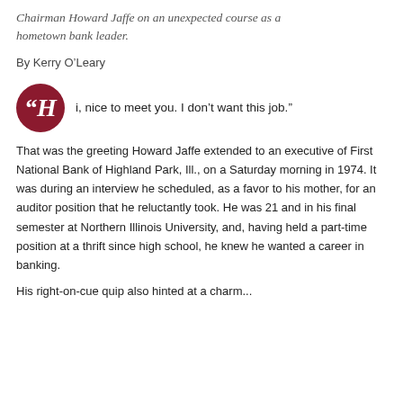Chairman Howard Jaffe on an unexpected course as a hometown bank leader.
By Kerry O'Leary
“Hi, nice to meet you. I don't want this job.”
That was the greeting Howard Jaffe extended to an executive of First National Bank of Highland Park, Ill., on a Saturday morning in 1974. It was during an interview he scheduled, as a favor to his mother, for an auditor position that he reluctantly took. He was 21 and in his final semester at Northern Illinois University, and, having held a part-time position at a thrift since high school, he knew he wanted a career in banking.
His right-on-cue quip also hinted at a charm...